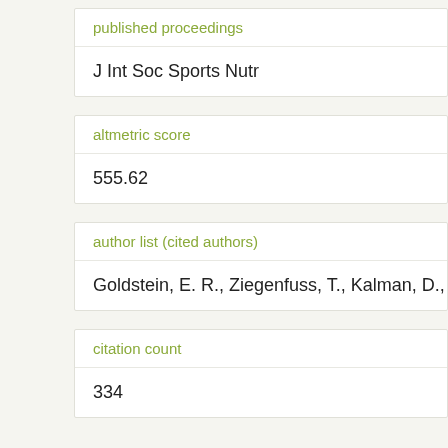published proceedings
J Int Soc Sports Nutr
altmetric score
555.62
author list (cited authors)
Goldstein, E. R., Ziegenfuss, T., Kalman, D., Kreide
citation count
334